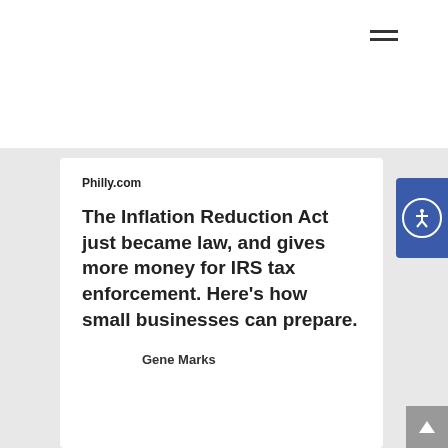GENE MARKS
Philly.com
The Inflation Reduction Act just became law, and gives more money for IRS tax enforcement. Here’s how small businesses can prepare.
Gene Marks
August 17, 2022